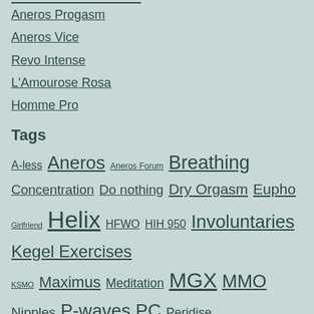Aneros Progasm
Aneros Vice
Revo Intense
L'Amourose Rosa
Homme Pro
Tags
A-less  Aneros  Aneros Forum  Breathing  Concentration  Do nothing  Dry Orgasm  Eupho  Girlfriend  Helix  HFWO  HIH 950  Involuntaries  Kegel Exercises  KSMO  Maximus  Meditation  MGX  MMO  Nipples  P-waves  PC  Peridise  Perineum  Porn